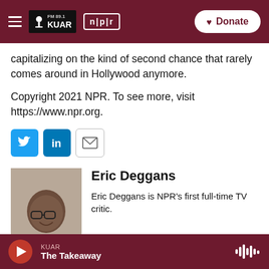FM 89.1 KUAR | NPR | Donate
capitalizing on the kind of second chance that rarely comes around in Hollywood anymore.
Copyright 2021 NPR. To see more, visit https://www.npr.org.
[Figure (infographic): Social sharing buttons: Twitter (blue bird icon), LinkedIn (blue 'in' icon), Email (envelope icon)]
[Figure (photo): Headshot of Eric Deggans, a Black man wearing glasses and a dark blazer, smiling.]
Eric Deggans
Eric Deggans is NPR's first full-time TV critic.
KUAR | The Takeaway